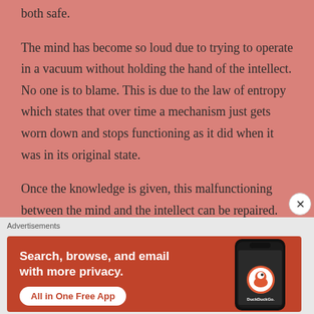both safe.
The mind has become so loud due to trying to operate in a vacuum without holding the hand of the intellect.  No one is to blame. This is due to the law of entropy which states that over time a mechanism just gets worn down and stops functioning as it did when it was in its original state.
Once the knowledge is given, this malfunctioning between the mind and the intellect can be repaired. So
[Figure (other): DuckDuckGo advertisement banner showing 'Search, browse, and email with more privacy. All in One Free App' with a phone illustration and DuckDuckGo logo on an orange-red background.]